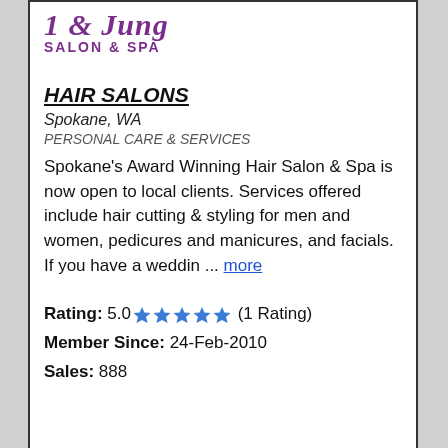[Figure (logo): Salon & Spa logo with purple cursive text and 'SALON & SPA' subtitle]
HAIR SALONS
Spokane, WA
PERSONAL CARE & SERVICES
Spokane's Award Winning Hair Salon & Spa is now open to local clients. Services offered include hair cutting & styling for men and women, pedicures and manicures, and facials. If you have a weddin ... more
Rating: 5.0 ★★★★★ (1 Rating)
Member Since: 24-Feb-2010
Sales: 888